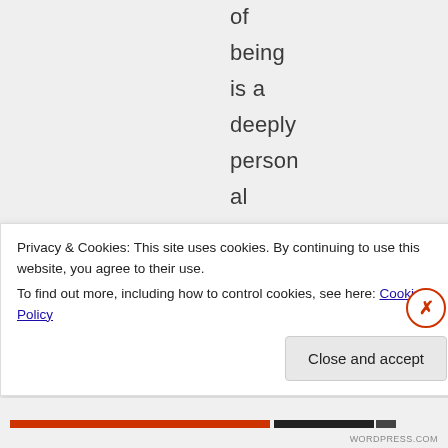of being is a deeply personal experi ence. I cannot at all .
Privacy & Cookies: This site uses cookies. By continuing to use this website, you agree to their use.
To find out more, including how to control cookies, see here: Cookie Policy
Close and accept